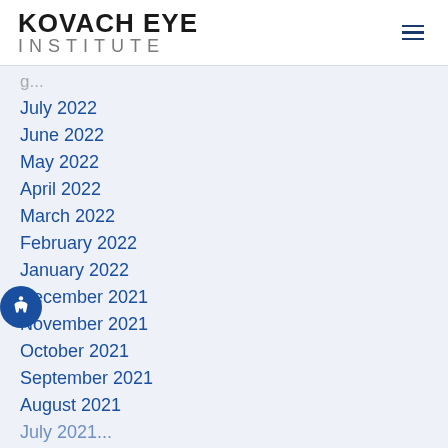KOVACH EYE INSTITUTE
July 2022
June 2022
May 2022
April 2022
March 2022
February 2022
January 2022
December 2021
November 2021
October 2021
September 2021
August 2021
July 2021